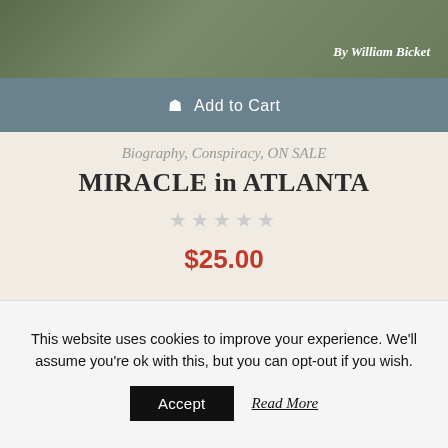[Figure (screenshot): Top portion of a book product page showing a dark olive/green photographic background with the text 'By William Bicket' in white italic at the upper right]
Add to Cart
Biography, Conspiracy, ON SALE
MIRACLE in ATLANTA
★★★★★ (empty stars rating)
$25.00
Quick View
This website uses cookies to improve your experience. We'll assume you're ok with this, but you can opt-out if you wish.
Accept
Read More